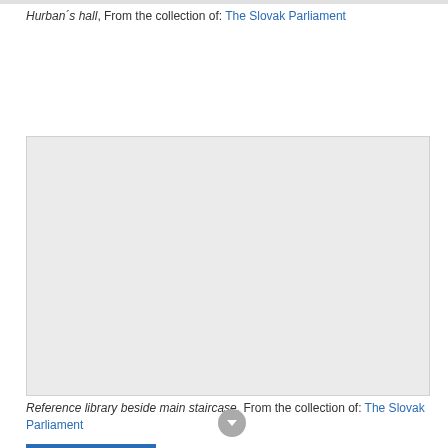Hurban´s hall, From the collection of: The Slovak Parliament
[Figure (photo): Gray placeholder rectangle representing a photo of a reference library beside main staircase in the Slovak Parliament building]
Reference library beside main staircase, From the collection of: The Slovak Parliament